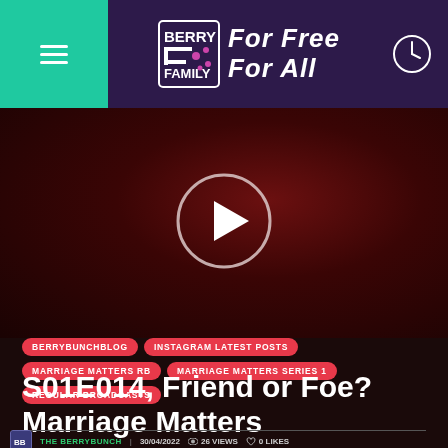Berry Family | For Free For All
[Figure (screenshot): Dark video thumbnail with a play button circle in the center, dim reddish background with blurred crowd]
BERRYBUNCHBLOG
INSTAGRAM LATEST POSTS
MARRIAGE MATTERS RB
MARRIAGE MATTERS SERIES 1
REGULAR BROADCASTS
S01E014, Friend or Foe? Marriage Matters
THE BERRYBUNCH | 30/04/2022 | 26 VIEWS | 0 LIKES